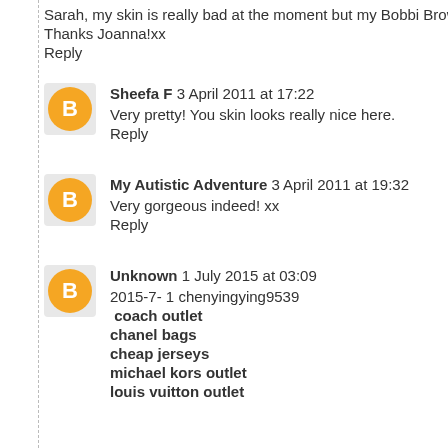Sarah, my skin is really bad at the moment but my Bobbi Brown S
Thanks Joanna!xx
Reply
Sheefa F  3 April 2011 at 17:22
Very pretty! You skin looks really nice here.
Reply
My Autistic Adventure  3 April 2011 at 19:32
Very gorgeous indeed! xx
Reply
Unknown  1 July 2015 at 03:09
2015-7- 1 chenyingying9539
coach outlet
chanel bags
cheap jerseys
michael kors outlet
louis vuitton outlet